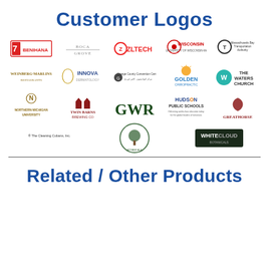Customer Logos
[Figure (logo): Grid of customer logos including Benihana, Boca Grove, ZLTech, Wisconsin, Massachusetts Bay Transportation Authority, Weinberg-Marlins Restaurants, Innova Dermatology, Orange County Convention Center, Golden Chiropractic, The Waters Church, Northern Michigan University, Twin Barns Brewing Co, GWR, Hudson Public Schools, Greathorse, The Cleaning Cubans Inc, tree botanical logo, White Cloud Botanicals]
Related / Other Products